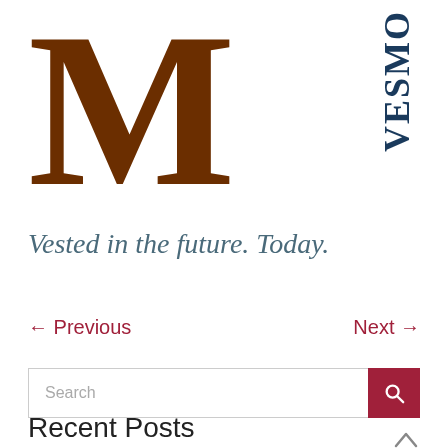[Figure (logo): Vesmont financial firm logo: large brown letter M with 'VESMO' text written vertically in dark blue to the right]
Vested in the future. Today.
← Previous
Next →
Search
Recent Posts